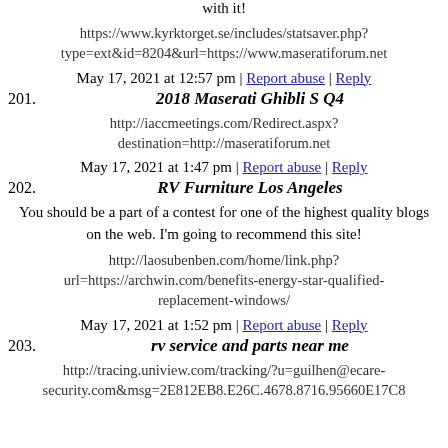with it!
https://www.kyrktorget.se/includes/statsaver.php?type=ext&id=8204&url=https://www.maseratiforum.net
May 17, 2021 at 12:57 pm | Report abuse | Reply
201. 2018 Maserati Ghibli S Q4
http://iaccmeetings.com/Redirect.aspx?destination=http://maseratiforum.net
May 17, 2021 at 1:47 pm | Report abuse | Reply
202. RV Furniture Los Angeles
You should be a part of a contest for one of the highest quality blogs on the web. I'm going to recommend this site!
http://laosubenben.com/home/link.php?url=https://archwin.com/benefits-energy-star-qualified-replacement-windows/
May 17, 2021 at 1:52 pm | Report abuse | Reply
203. rv service and parts near me
http://tracing.uniview.com/tracking/?u=guilhen@ecare-security.com&msg=2E812EB8.E26C.4678.8716.95660E17C8...